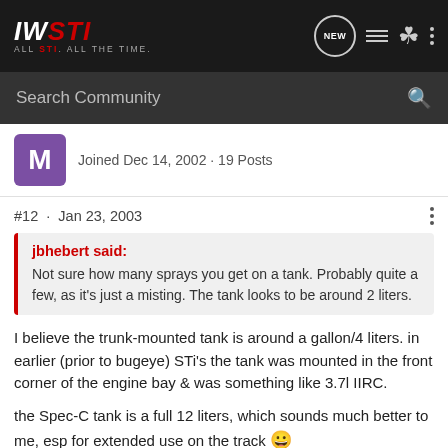IWSTI — ALL STI. ALL THE TIME. [Navigation bar with NEW, list, user, menu icons]
Search Community
Joined Dec 14, 2002 · 19 Posts
#12 · Jan 23, 2003
jbhebert said: Not sure how many sprays you get on a tank. Probably quite a few, as it's just a misting. The tank looks to be around 2 liters.
I believe the trunk-mounted tank is around a gallon/4 liters. in earlier (prior to bugeye) STi's the tank was mounted in the front corner of the engine bay & was something like 3.7l IIRC.
the Spec-C tank is a full 12 liters, which sounds much better to me, esp for extended use on the track 😀